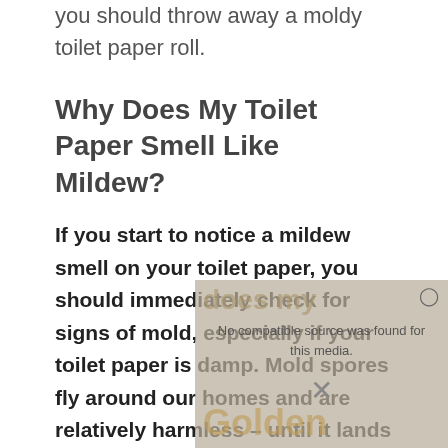you should throw away a moldy toilet paper roll.
Why Does My Toilet Paper Smell Like Mildew?
If you start to notice a mildew smell on your toilet paper, you should immediately check for signs of mold, especially if your toilet paper is damp. Mold spores fly around our homes and are relatively harmless – until it lands on a damp surface.
[Figure (screenshot): Video player overlay showing 'No compatible source was found for this media.' message with a close button and X dismiss button, overlaid on a partially visible background image with text 'does my Golden']